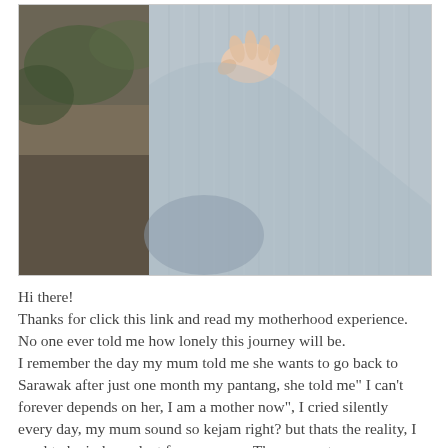[Figure (photo): Close-up photo of a pregnant woman in a light blue/grey ribbed knit sweater, with a baby or small child's hand gripping the fabric near her belly. The background is blurred outdoor scenery with vegetation and earth tones.]
Hi there!
Thanks for click this link and read my motherhood experience. No one ever told me how lonely this journey will be. I remember the day my mum told me she wants to go back to Sarawak after just one month my pantang, she told me" I can't forever depends on her, I am a mother now", I cried silently every day, my mum sound so kejam right? but thats the reality, I need to be independent from now on. The moment my mum went back, I really feel so lonely and I finally feel the motherhood journey is so lonely, I have my husband but